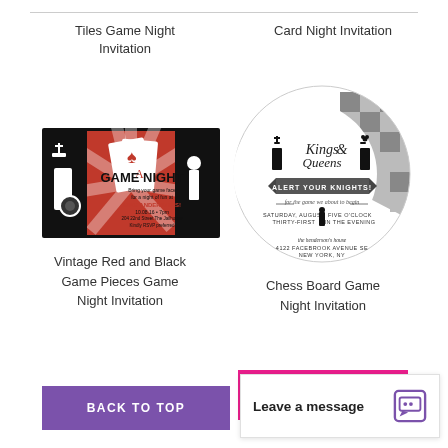Tiles Game Night Invitation
Card Night Invitation
[Figure (illustration): Vintage Red and Black Game Pieces Game Night Invitation card with chess pieces, playing cards, and red sunburst background]
Vintage Red and Black Game Pieces Game Night Invitation
[Figure (illustration): Chess Board Game Night Invitation circular card with chess piece silhouettes and Kings & Queens Alert Your Knights text]
Chess Board Game Night Invitation
[Figure (illustration): Partial view of another game night invitation with pink background]
BACK TO TOP
Leave a message